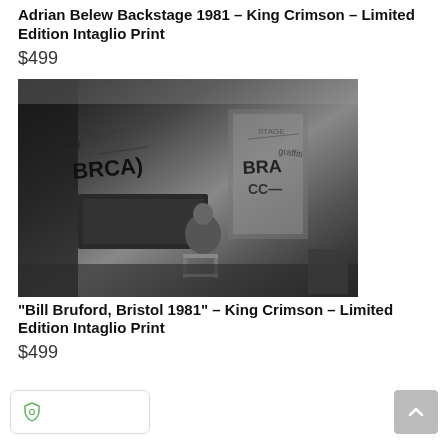Adrian Belew Backstage 1981 – King Crimson – Limited Edition Intaglio Print
$499
[Figure (photo): Black and white photograph of a person backstage in a room with graffiti-covered walls, sitting at equipment, Bristol 1981, King Crimson tour]
“Bill Bruford, Bristol 1981” – King Crimson – Limited Edition Intaglio Print
$499